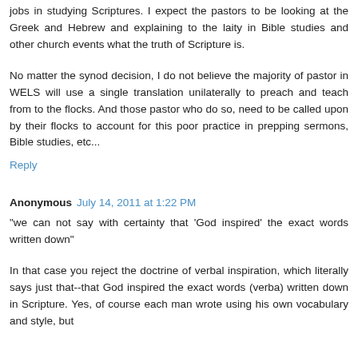jobs in studying Scriptures. I expect the pastors to be looking at the Greek and Hebrew and explaining to the laity in Bible studies and other church events what the truth of Scripture is.
No matter the synod decision, I do not believe the majority of pastor in WELS will use a single translation unilaterally to preach and teach from to the flocks. And those pastor who do so, need to be called upon by their flocks to account for this poor practice in prepping sermons, Bible studies, etc...
Reply
Anonymous July 14, 2011 at 1:22 PM
"we can not say with certainty that 'God inspired' the exact words written down"
In that case you reject the doctrine of verbal inspiration, which literally says just that--that God inspired the exact words (verba) written down in Scripture. Yes, of course each man wrote using his own vocabulary and style, but God used those human authors and languages to give us